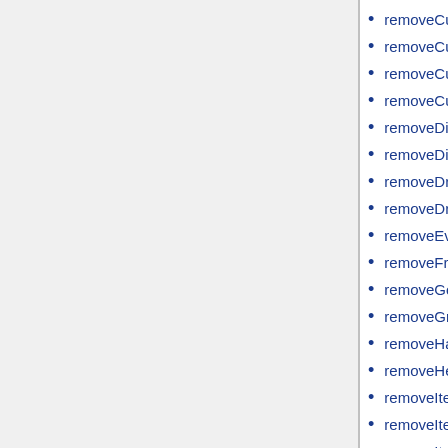removeCuratorAddons
removeCuratorCameraArea
removeCuratorEditableObjects
removeCuratorEditingArea
removeDiaryRecord
removeDiarySubject
removeDrawIcon
removeDrawLinks
removeEventHandler
removeFromRemainsCollector
removeGoggles
removeGroupIcon
removeHandgunItem
removeHeadgear
removeItem
removeItemFromBackpack
removeItemFromUniform
removeItemFromVest
removeItems